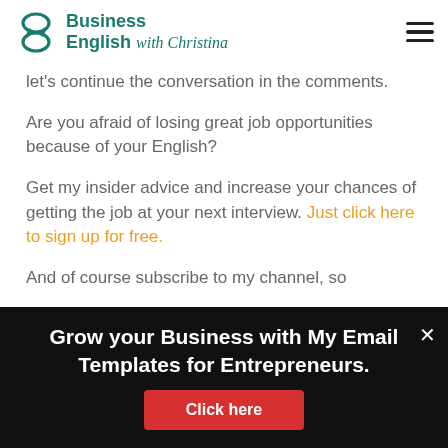Business English with Christina
let’s continue the conversation in the comments.
Are you afraid of losing great job opportunities because of your English?
Get my insider advice and increase your chances of getting the job at your next interview. Just click here to sign up for free.
And of course subscribe to my channel, so
Grow your Business with My Email Templates for Entrepreneurs.
Click here